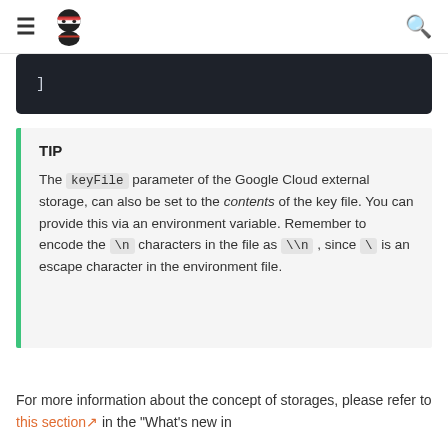≡ [ninja logo] 🔍
]
TIP

The keyFile parameter of the Google Cloud external storage, can also be set to the contents of the key file. You can provide this via an environment variable. Remember to encode the \n characters in the file as \\n , since \ is an escape character in the environment file.
For more information about the concept of storages, please refer to this section in the "What's new in